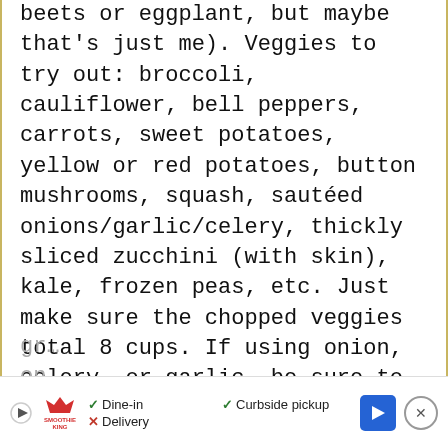beets or eggplant, but maybe that's just me). Veggies to try out: broccoli, cauliflower, bell peppers, carrots, sweet potatoes, yellow or red potatoes, button mushrooms, squash, sautéed onions/garlic/celery, thickly sliced zucchini (with skin), kale, frozen peas, etc. Just make sure the chopped veggies total 8 cups. If using onion, celery, or garlic, be sure to sauté them in the oil over medium heat for about 5 minutes, until softened, before adding the remaining ingredients. I have not tested any frozen veggies besides frozen
gr... on...